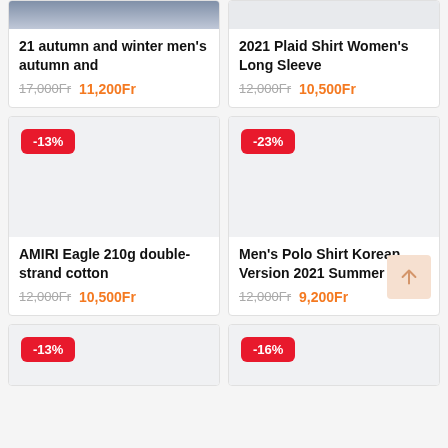[Figure (photo): Product image top partial - men's clothing photo]
21 autumn and winter men's autumn and
17,000Fr  11,200Fr
[Figure (photo): Product listing image area - blank/loading]
2021 Plaid Shirt Women's Long Sleeve
12,000Fr  10,500Fr
[Figure (photo): Product image with -13% discount badge]
AMIRI Eagle 210g double-strand cotton
12,000Fr  10,500Fr
[Figure (photo): Product image with -23% discount badge]
Men's Polo Shirt Korean Version 2021 Summer
12,000Fr  9,200Fr
[Figure (photo): Product image with -13% discount badge (bottom left partial)]
[Figure (photo): Product image with -16% discount badge (bottom right partial)]